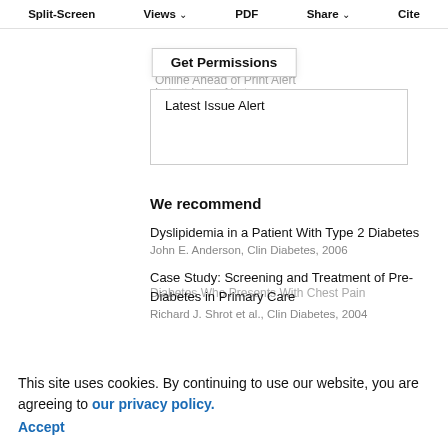Split-Screen  Views  PDF  Share  Cite
Email Alerts
Get Permissions
Article Activity Alert
Online Ahead of Print Alert
Latest Issue Alert
We recommend
Dyslipidemia in a Patient With Type 2 Diabetes
John E. Anderson, Clin Diabetes, 2006
Case Study: Screening and Treatment of Pre-Diabetes in Primary Care
Richard J. Shrot et al., Clin Diabetes, 2004
Diabetes Who Presents With Chest Pain
Severe Hypertriglyceridemia Causing High Anion
This site uses cookies. By continuing to use our website, you are agreeing to our privacy policy.
Accept